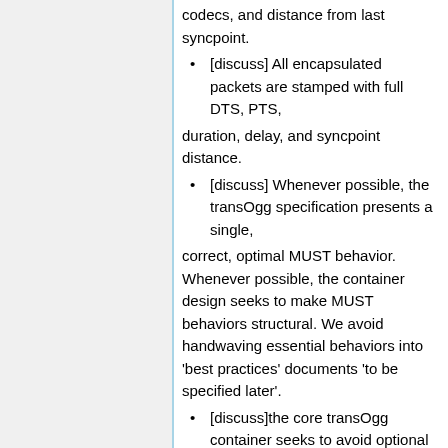codecs, and distance from last syncpoint.
[discuss] All encapsulated packets are stamped with full DTS, PTS,
duration, delay, and syncpoint distance.
[discuss] Whenever possible, the transOgg specification presents a single,
correct, optimal MUST behavior. Whenever possible, the container design seeks to make MUST behaviors structural. We avoid handwaving essential behaviors into 'best practices' documents 'to be specified later'.
[discuss]the core transOgg container seeks to avoid optional structures,
switches, code paths, and features in its framing mechanisms. Optional structures